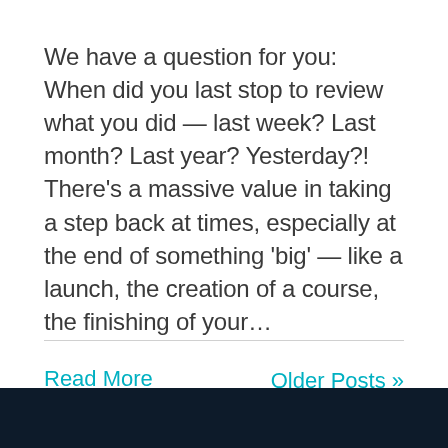We have a question for you: When did you last stop to review what you did — last week? Last month? Last year? Yesterday?! There's a massive value in taking a step back at times, especially at the end of something 'big' — like a launch, the creation of a course, the finishing of your...
Read More
Older Posts »